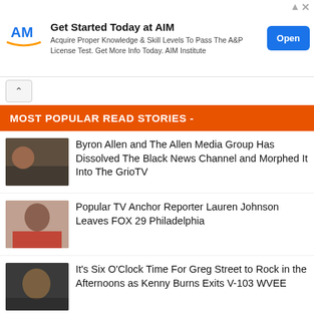[Figure (other): AIM Institute advertisement banner with logo, text, and Open button]
MOST POPULAR READ STORIES -
[Figure (photo): Thumbnail image for Byron Allen / Black News Channel story]
Byron Allen and The Allen Media Group Has Dissolved The Black News Channel and Morphed It Into The GrioTV
[Figure (photo): Thumbnail image of Lauren Johnson]
Popular TV Anchor Reporter Lauren Johnson Leaves FOX 29 Philadelphia
[Figure (photo): Thumbnail image for Greg Street / Kenny Burns V-103 story]
It's Six O'Clock Time For Greg Street to Rock in the Afternoons as Kenny Burns Exits V-103 WVEE
[Figure (photo): Thumbnail image with 102.5 logo]
102.5 Hartford's R&B Station is